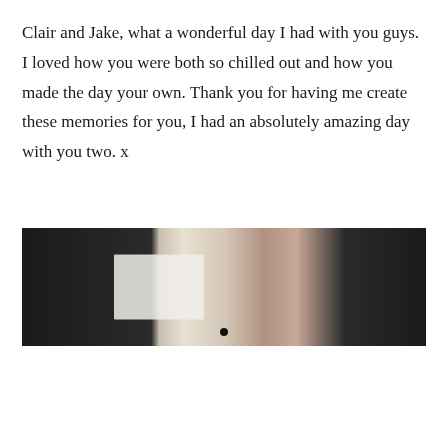Clair and Jake, what a wonderful day I had with you guys. I loved how you were both so chilled out and how you made the day your own. Thank you for having me create these memories for you, I had an absolutely amazing day with you two. x
[Figure (photo): A blurred close-up photograph showing a hand holding what appears to be a white card or paper, against a dark fabric background.]